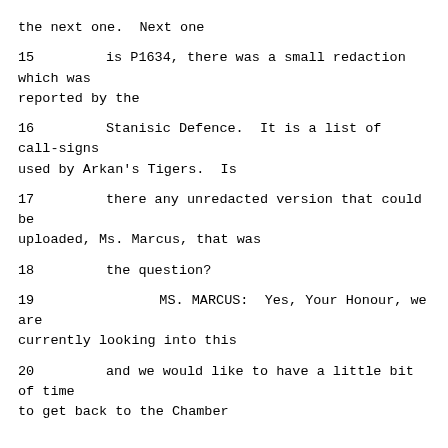the next one.  Next one
15      is P1634, there was a small redaction which was reported by the
16      Stanisic Defence.  It is a list of call-signs used by Arkan's Tigers.  Is
17      there any unredacted version that could be uploaded, Ms. Marcus, that was
18      the question?
19              MS. MARCUS:  Yes, Your Honour, we are currently looking into this
20      and we would like to have a little bit of time to get back to the Chamber